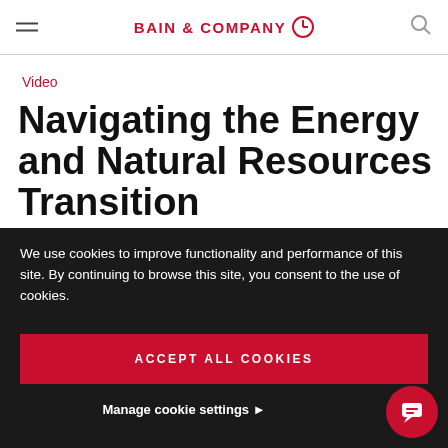BAIN & COMPANY
Video
Navigating the Energy and Natural Resources Transition
Bain Partners Peter Parry and Joe Scalise
We use cookies to improve functionality and performance of this site. By continuing to browse this site, you consent to the use of cookies.
ACCEPT ALL COOKIES
Manage cookie settings ▶